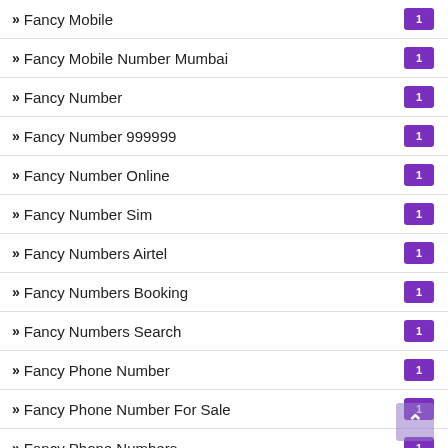Fancy Mobile | 1
Fancy Mobile Number Mumbai | 1
Fancy Number | 1
Fancy Number 999999 | 1
Fancy Number Online | 1
Fancy Number Sim | 1
Fancy Numbers Airtel | 1
Fancy Numbers Booking | 1
Fancy Numbers Search | 1
Fancy Phone Number | 1
Fancy Phone Number For Sale | 1
Fancy Phone Numbers | 1
Golden Mobile Number | 1